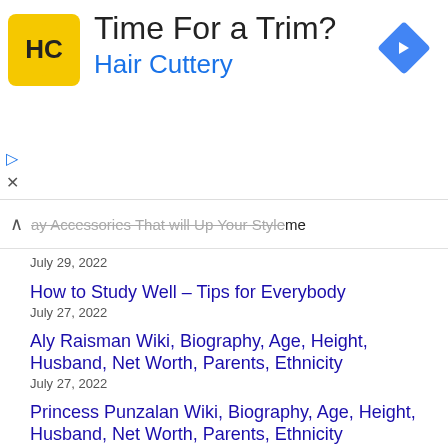[Figure (other): Hair Cuttery advertisement banner with yellow HC logo, text 'Time For a Trim? Hair Cuttery', and a blue diamond-shaped arrow icon on the right.]
ay Accessories That Will Up Your Style
me
July 29, 2022
How to Study Well – Tips for Everybody
July 27, 2022
Aly Raisman Wiki, Biography, Age, Height, Husband, Net Worth, Parents, Ethnicity
July 27, 2022
Princess Punzalan Wiki, Biography, Age, Height, Husband, Net Worth, Parents, Ethnicity
July 27, 2022
Kelsea Ballerini Wiki, Biography, Age, Height, Husband, Net Worth, Parents, Ethnicity
July 27, 2022
Millie Bright Wiki, Biography, Age, Height, Husband, Net Worth, Parents, Ethnicity